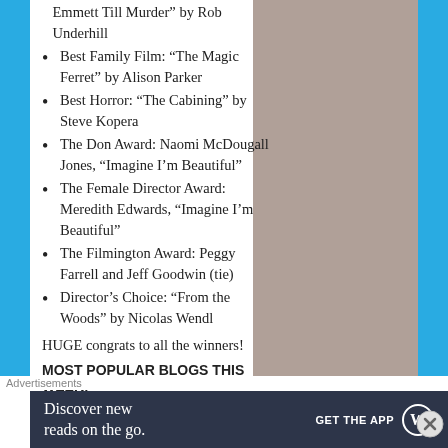Emmett Till Murder" by Rob Underhill
Best Family Film: “The Magic Ferret” by Alison Parker
Best Horror: “The Cabining” by Steve Kopera
The Don Award: Naomi McDougall Jones, “Imagine I’m Beautiful”
The Female Director Award: Meredith Edwards, “Imagine I’m Beautiful”
The Filmington Award: Peggy Farrell and Jeff Goodwin (tie)
Director’s Choice: “From the Woods” by Nicolas Wendl
HUGE congrats to all the winners!
MOST POPULAR BLOGS THIS WEEK:
James Van Der Beek speaks up
Advertisements
Discover new reads on the go. GET THE APP